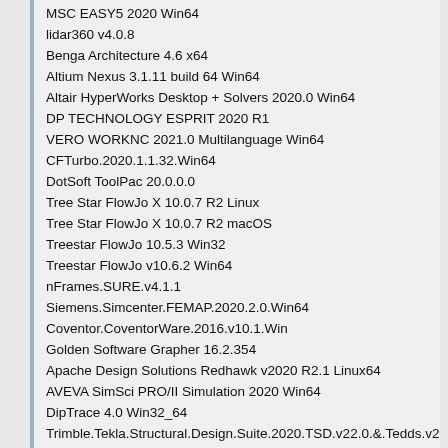MSC EASY5 2020 Win64
lidar360 v4.0.8
Benga Architecture 4.6 x64
Altium Nexus 3.1.11 build 64 Win64
Altair HyperWorks Desktop + Solvers 2020.0 Win64
DP TECHNOLOGY ESPRIT 2020 R1
VERO WORKNC 2021.0 Multilanguage Win64
CFTurbo.2020.1.1.32.Win64
DotSoft ToolPac 20.0.0.0
Tree Star FlowJo X 10.0.7 R2 Linux
Tree Star FlowJo X 10.0.7 R2 macOS
Treestar FlowJo 10.5.3 Win32
Treestar FlowJo v10.6.2 Win64
nFrames.SURE.v4.1.1
Siemens.Simcenter.FEMAP.2020.2.0.Win64
Coventor.CoventorWare.2016.v10.1.Win
Golden Software Grapher 16.2.354
Apache Design Solutions Redhawk v2020 R2.1 Linux64
AVEVA SimSci PRO/II Simulation 2020 Win64
DipTrace 4.0 Win32_64
Trimble.Tekla.Structural.Design.Suite.2020.TSD.v22.0.&.Tedds.v22.1
Embarcadero RAD Studio 10.4 Sydney Architect 27.0.37889.9797
RISA 2D v18.0.0
Risa-3D v18.0.4
Risa Connection v11.02